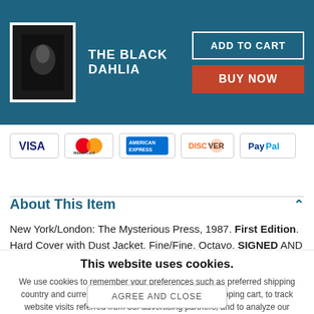[Figure (other): E-commerce product page header with book thumbnail (The Black Dahlia), title text, ADD TO CART and BUY NOW buttons on teal background]
[Figure (other): Payment method icons: VISA, MasterCard, American Express, Discover, PayPal]
About This Item
New York/London: The Mysterious Press, 1987. First Edition. Hard Cover with Dust Jacket. Fine/Fine. Octavo. SIGNED AND
This website uses cookies.
We use cookies to remember your preferences such as preferred shipping country and currency, to save items placed in your shopping cart, to track website visits referred from our advertising partners, and to analyze our website traffic. Manage your privacy settings.
AGREE AND CLOSE